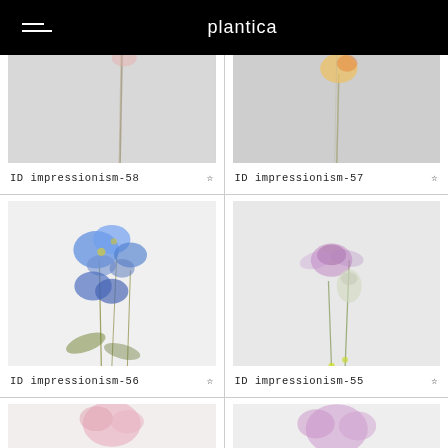plantica
[Figure (photo): Impressionistic blurred flower stem with pink bloom on grey background, top portion cut off]
ID impressionism-58
[Figure (photo): Impressionistic blurred flower with yellow/orange bloom on grey background, top portion cut off]
ID impressionism-57
[Figure (photo): Impressionistic blurred blue flowers (delphinium-like) on white background]
ID impressionism-56
[Figure (photo): Impressionistic blurred pink/purple flowers on light grey background]
ID impressionism-55
[Figure (photo): Partial view of flower, pink bloom, bottom of page, cropped]
[Figure (photo): Partial view of flower, pink/purple bloom, bottom of page, cropped]